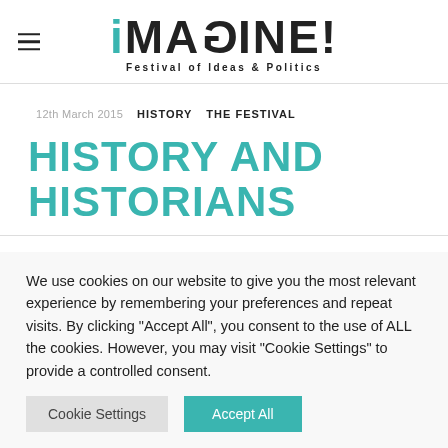iMAGINE! Festival of Ideas & Politics
12th March 2015   HISTORY   THE FESTIVAL
HISTORY AND HISTORIANS
We use cookies on our website to give you the most relevant experience by remembering your preferences and repeat visits. By clicking "Accept All", you consent to the use of ALL the cookies. However, you may visit "Cookie Settings" to provide a controlled consent.